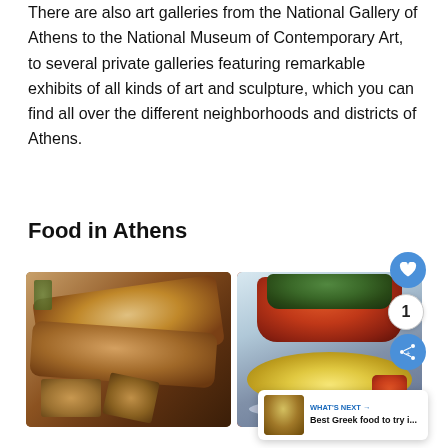There are also art galleries from the National Gallery of Athens to the National Museum of Contemporary Art, to several private galleries featuring remarkable exhibits of all kinds of art and sculpture, which you can find all over the different neighborhoods and districts of Athens.
Food in Athens
[Figure (photo): Photo of Greek gyros/souvlaki wraps with fries and pita bread on a wooden board]
[Figure (photo): Photo of Greek stuffed vegetables (gemista/dolmades) with tomatoes and yellow beans on a white plate]